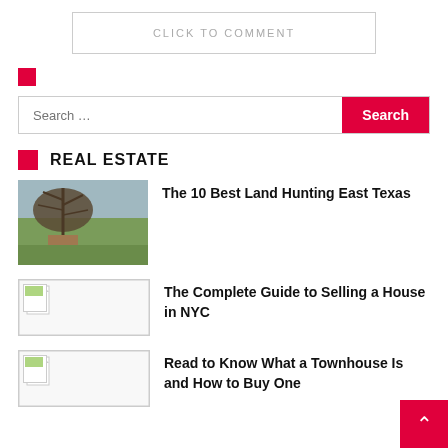CLICK TO COMMENT
[Figure (other): Red square decorative element]
Search ...
REAL ESTATE
[Figure (photo): Outdoor landscape with a bare tree and green grass in East Texas countryside]
The 10 Best Land Hunting East Texas
[Figure (photo): Placeholder image with document icon]
The Complete Guide to Selling a House in NYC
[Figure (photo): Placeholder image with document icon]
Read to Know What a Townhouse Is and How to Buy One